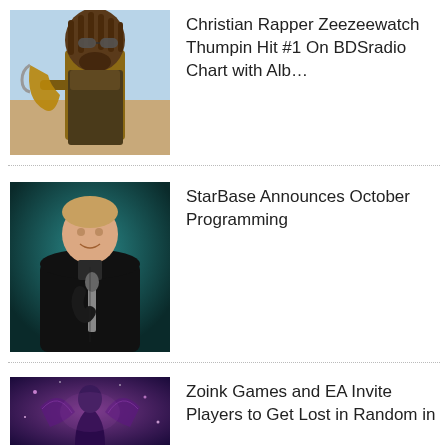[Figure (photo): Christian rapper Zeezeewatch holding an instrument, wearing sunglasses with dreadlocks, outdoors.]
Christian Rapper Zeezeewatch Thumpin Hit #1 On BDSradio Chart with Alb…
[Figure (photo): Man in a black shirt holding a microphone, speaking on a dark teal stage background.]
StarBase Announces October Programming
[Figure (photo): Dark fantasy game art featuring a purple-toned character with wings.]
Zoink Games and EA Invite Players to Get Lost in Random in